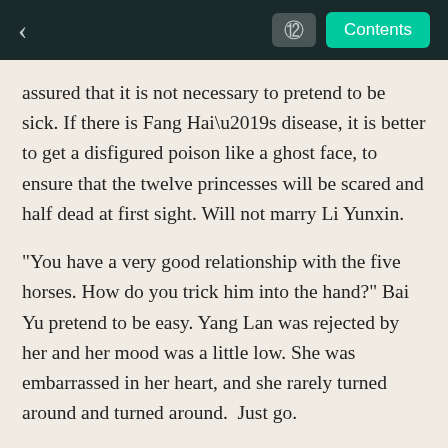< [moon] Contents
assured that it is not necessary to pretend to be sick. If there is Fang Hai’s disease, it is better to get a disfigured poison like a ghost face, to ensure that the twelve princesses will be scared and half dead at first sight. Will not marry Li Yunxin.
"You have a very good relationship with the five horses. How do you trick him into the hand?" Bai Yu pretend to be easy. Yang Lan was rejected by her and her mood was a little low. She was embarrassed in her heart, and she rarely turned around and turned around. Just go.
Yang Lan faintly understood her mind and smiled: